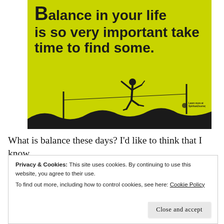[Figure (illustration): Yellow-green motivational image showing a silhouette of a person walking a tightrope between two poles, with bold text reading 'Balance in your life is so very important take time to find some.' and a small logo 'Learn more at SpiritualJourney.Org' at the bottom right.]
What is balance these days? I'd like to think that I know
Privacy & Cookies: This site uses cookies. By continuing to use this website, you agree to their use.
To find out more, including how to control cookies, see here: Cookie Policy
Close and accept